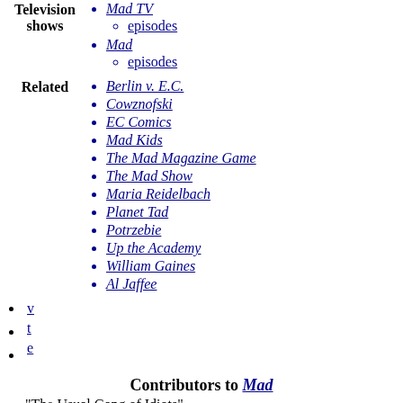Mad TV
episodes (sub-item of Mad TV)
Mad
episodes (sub-item of Mad)
Television shows (label)
Berlin v. E.C.
Cowznofski
EC Comics
Mad Kids
The Mad Magazine Game
The Mad Show
Maria Reidelbach
Planet Tad
Potrzebie
Up the Academy
William Gaines
Al Jaffee
Related (label)
v
t
e
Contributors to Mad
"The Usual Gang of Idiots"